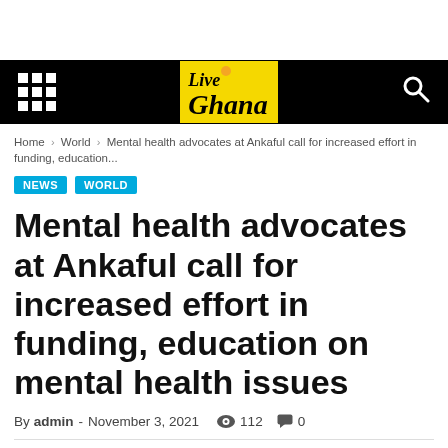LiveGhana
Home › World › Mental health advocates at Ankaful call for increased effort in funding, education...
NEWS
WORLD
Mental health advocates at Ankaful call for increased effort in funding, education on mental health issues
By admin - November 3, 2021  👁 112  💬 0